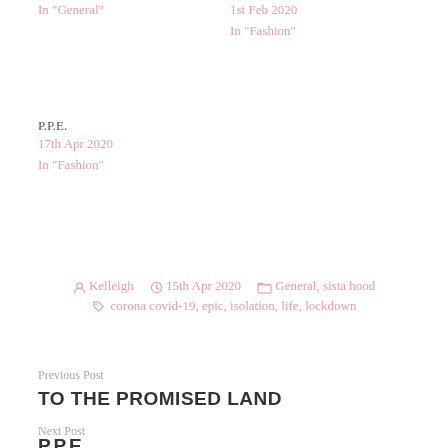In "General"
1st Feb 2020
In "Fashion"
P.P.E.
17th Apr 2020
In "Fashion"
Kelleigh   15th Apr 2020   General, sista hood   corona covid-19, epic, isolation, life, lockdown
Previous Post
TO THE PROMISED LAND
Next Post
P.P.E.